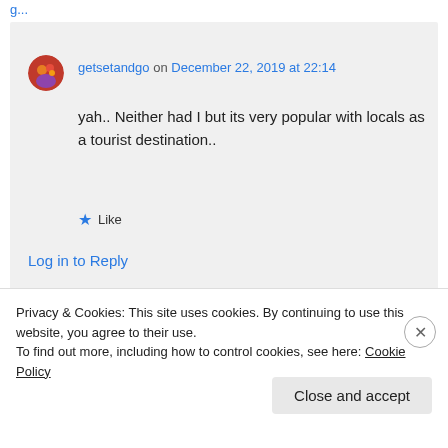getsetandgo on December 22, 2019 at 22:14
yah.. Neither had I but its very popular with locals as a tourist destination..
Like
Log in to Reply
arul on December 24, 2019 at 07:17
Privacy & Cookies: This site uses cookies. By continuing to use this website, you agree to their use.
To find out more, including how to control cookies, see here: Cookie Policy
Close and accept